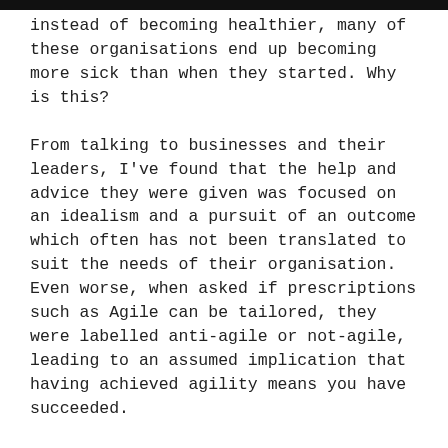instead of becoming healthier, many of these organisations end up becoming more sick than when they started. Why is this?
From talking to businesses and their leaders, I've found that the help and advice they were given was focused on an idealism and a pursuit of an outcome which often has not been translated to suit the needs of their organisation. Even worse, when asked if prescriptions such as Agile can be tailored, they were labelled anti-agile or not-agile, leading to an assumed implication that having achieved agility means you have succeeded.
This type of approach often leads to